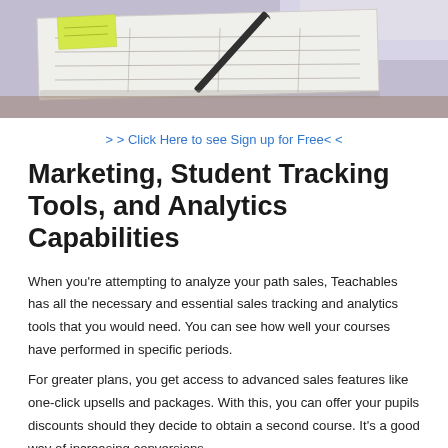[Figure (photo): Photo of a desk with papers, pen/pencil and notebook, viewed from above]
> > Click Here to see Sign up for Free< <
Marketing, Student Tracking Tools, and Analytics Capabilities
When you're attempting to analyze your path sales, Teachables has all the necessary and essential sales tracking and analytics tools that you would need. You can see how well your courses have performed in specific periods.
For greater plans, you get access to advanced sales features like one-click upsells and packages. With this, you can offer your pupils discounts should they decide to obtain a second course. It's a good way of increasing conversions.